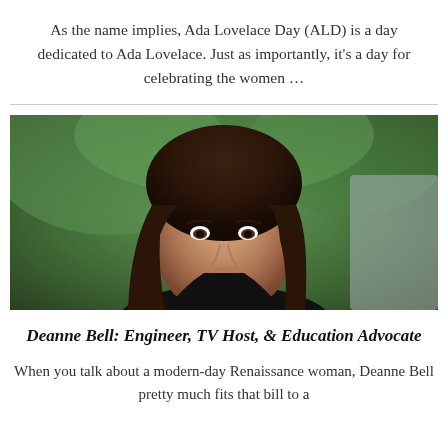As the name implies, Ada Lovelace Day (ALD) is a day dedicated to Ada Lovelace. Just as importantly, it’s a day for celebrating the women …
[Figure (photo): Portrait photo of Deanne Bell, a woman with long brown hair, smiling, wearing a black top, with greenery in the background]
Deanne Bell: Engineer, TV Host, & Education Advocate
When you talk about a modern-day Renaissance woman, Deanne Bell pretty much fits that bill to a